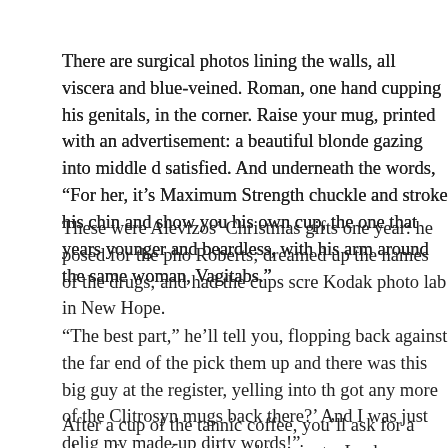There are surgical photos lining the walls, all viscera and blue-veined. Roman, one hand cupping his genitals, in the corner. Raise your mug, printed with an advertisement: a beautiful blonde gazing into middle distance, satisfied. And underneath the words, "For her, it's Maximum Strength" chuckle and stroke his chin and show you his own cup, the one that years younger and beardless, with his arm around the same woman. Vagitabs."
These were Alevizos' Christmas gifts one year: he posed for the photo Roberts; dreamed up the names of the drugs; and had the cups screened at a Kodak photo lab in New Hope.
"The best part," he'll tell you, flopping back against the far end of the pick them up and there was this big guy at the register, yelling into the got any more of the Clitrosyn mugs back there?' And I was just delighted my made-up dirty words!"
After a cup of the tannic coffee, you'll ask for a glass of water (sparkling need to urinate. Lucky you.
"Use the toilet in back," Alevizos will advise, his eyes sparkling behind